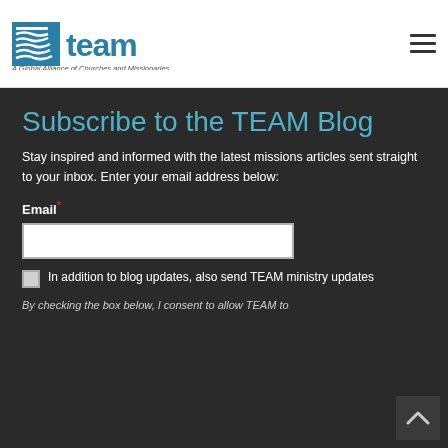[Figure (logo): TEAM logo - blue stylized graphic with 'team' text and tagline 'A Global Alliance of Churches and Missionaries']
Subscribe to the TEAM Blog
Stay inspired and informed with the latest missions articles sent straight to your inbox. Enter your email address below:
Email*
In addition to blog updates, also send TEAM ministry updates
By checking the box below, I consent to allow TEAM to